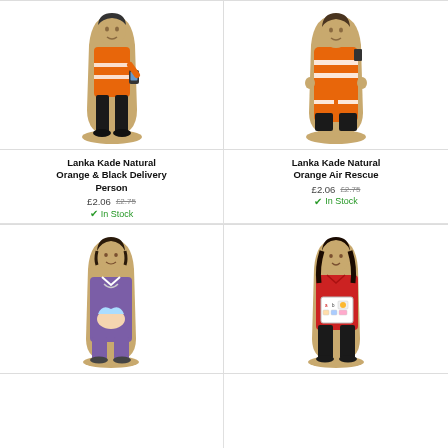[Figure (illustration): Lanka Kade wooden toy figure: person in orange and black delivery uniform holding a device]
Lanka Kade Natural Orange & Black Delivery Person
£2.06  £2.75
In Stock
[Figure (illustration): Lanka Kade wooden toy figure: person in orange air rescue jumpsuit with reflective stripes]
Lanka Kade Natural Orange Air Rescue
£2.06  £2.75
In Stock
[Figure (illustration): Lanka Kade wooden toy figure: nurse in purple uniform holding a baby]
[Figure (illustration): Lanka Kade wooden toy figure: woman in red jacket holding an alphabet/teaching board]